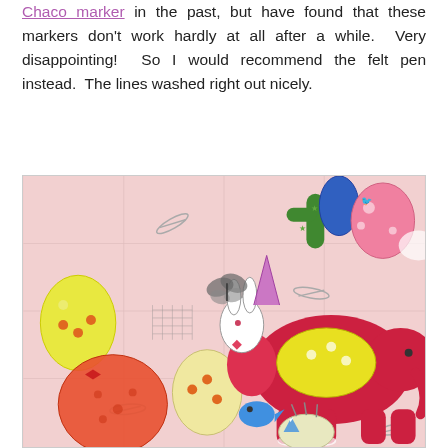Chaco marker in the past, but have found that these markers don't work hardly at all after a while.  Very disappointing!  So I would recommend the felt pen instead.  The lines washed right out nicely.
[Figure (photo): Photo of fabric laid flat on a tiled surface, pinned with safety pins. The fabric features colorful cartoon animals including a giraffe, elephant, rabbit, and a hedgehog, along with balloons, cacti, birds, and a butterfly. A grid-like quilting guide is drawn on the fabric.]